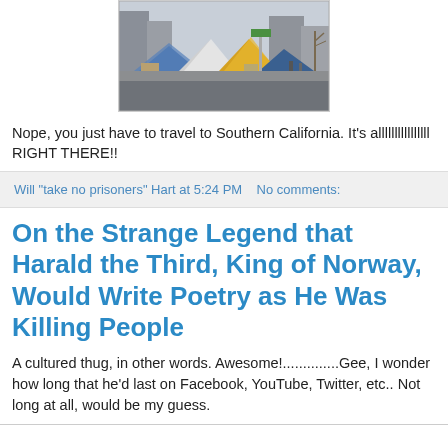[Figure (photo): Street scene showing tents and tarps set up along a city sidewalk, with buildings and street signs visible in the background — a homeless encampment in Southern California]
Nope, you just have to travel to Southern California. It's allllllllllllllll RIGHT THERE!!
Will "take no prisoners" Hart at 5:24 PM    No comments:
On the Strange Legend that Harald the Third, King of Norway, Would Write Poetry as He Was Killing People
A cultured thug, in other words. Awesome!..............Gee, I wonder how long that he'd last on Facebook, YouTube, Twitter, etc.. Not long at all, would be my guess.